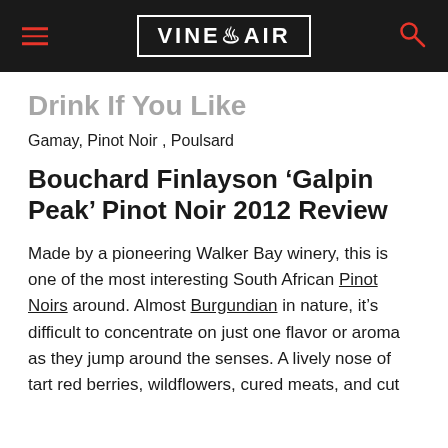VINEPAIR
Drink If You Like
Gamay, Pinot Noir , Poulsard
Bouchard Finlayson 'Galpin Peak' Pinot Noir 2012 Review
Made by a pioneering Walker Bay winery, this is one of the most interesting South African Pinot Noirs around. Almost Burgundian in nature, it's difficult to concentrate on just one flavor or aroma as they jump around the senses. A lively nose of tart red berries, wildflowers, cured meats, and cut